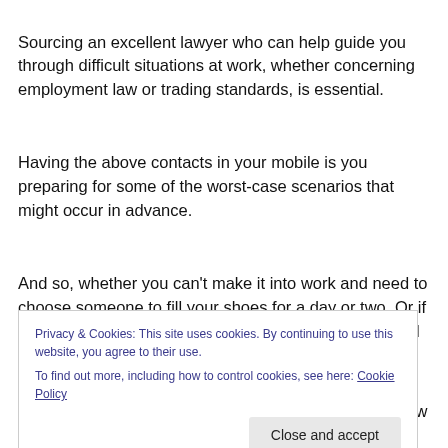Sourcing an excellent lawyer who can help guide you through difficult situations at work, whether concerning employment law or trading standards, is essential.
Having the above contacts in your mobile is you preparing for some of the worst-case scenarios that might occur in advance.
And so, whether you can't make it into work and need to choose someone to fill your shoes for a day or two. Or if you need legal advice over a supplier that has mis-sold you a product. With contacts at the ready, you'll avoid
Privacy & Cookies: This site uses cookies. By continuing to use this website, you agree to their use.
To find out more, including how to control cookies, see here: Cookie Policy
If you like what you've read here, please let others know of